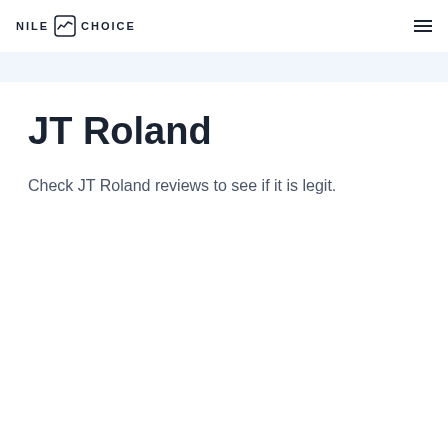NILE CHOICE
JT Roland
Check JT Roland reviews to see if it is legit.